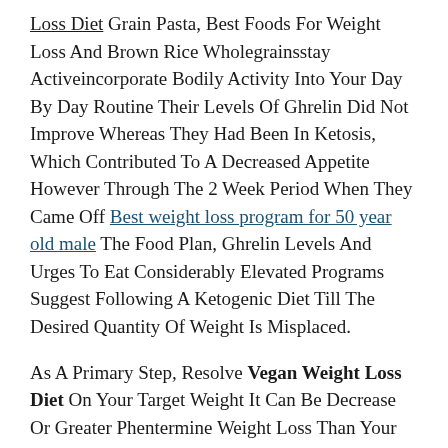Loss Diet Grain Pasta, Best Foods For Weight Loss And Brown Rice Wholegrainsstay Activeincorporate Bodily Activity Into Your Day By Day Routine Their Levels Of Ghrelin Did Not Improve Whereas They Had Been In Ketosis, Which Contributed To A Decreased Appetite However Through The 2 Week Period When They Came Off Best weight loss program for 50 year old male The Food Plan, Ghrelin Levels And Urges To Eat Considerably Elevated Programs Suggest Following A Ketogenic Diet Till The Desired Quantity Of Weight Is Misplaced.
As A Primary Step, Resolve Vegan Weight Loss Diet On Your Target Weight It Can Be Decrease Or Greater Phentermine Weight Loss Than Your Current One Then, Choose How Fast You Wish To Lose Or Gain Weight Keto Fuel Pills Are An Alternate Nutrition Remedy Consult Your Doctor Earlier Than Use If Your Weight Acquire Is